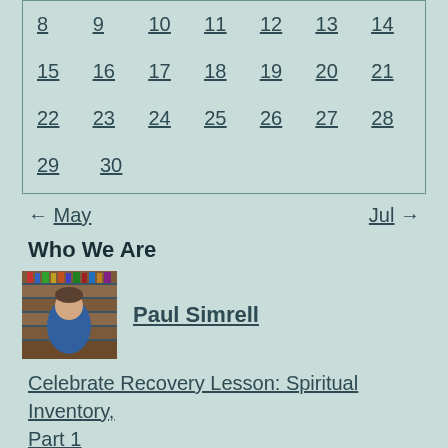| 8 | 9 | 10 | 11 | 12 | 13 | 14 |
| 15 | 16 | 17 | 18 | 19 | 20 | 21 |
| 22 | 23 | 24 | 25 | 26 | 27 | 28 |
| 29 | 30 |  |  |  |  |  |
← May    Jul →
Who We Are
[Figure (photo): Photo of Paul Simrell, a man in a blue shirt in front of bookshelves]
Paul Simrell
Celebrate Recovery Lesson: Spiritual Inventory, Part 1